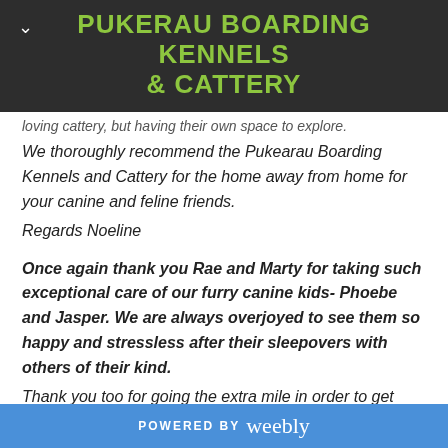PUKERAU BOARDING KENNELS & CATTERY
loving cattery, but having their own space to explore.
We thoroughly recommend the Pukearau Boarding Kennels and Cattery for the home away from home for your canine and feline friends.
Regards Noeline
Once again thank you Rae and Marty for taking such exceptional care of our furry canine kids- Phoebe and Jasper. We are always overjoyed to see them so happy and stressless after their sleepovers with others of their kind.
Thank you too for going the extra mile in order to get
POWERED BY weebly